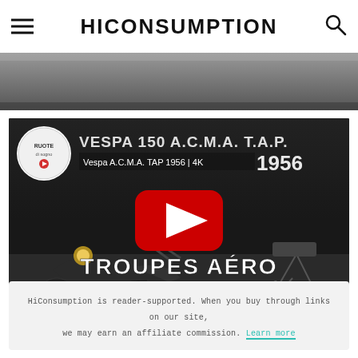HICONSUMPTION
[Figure (screenshot): Partial top image strip — dark grayscale background photo, partially visible]
[Figure (screenshot): YouTube video thumbnail for 'Vespa A.C.M.A. TAP 1956 | 4K' by Ruote di Sogno channel. Shows a black Vespa scooter in a dark museum-like setting with text overlays: 'VESPA 150 A.C.M.A. T.A.P. 1956' and 'TROUPES AÉRO PORTÉES'. A red YouTube play button is centered over the thumbnail.]
HiConsumption is reader-supported. When you buy through links on our site, we may earn an affiliate commission. Learn more